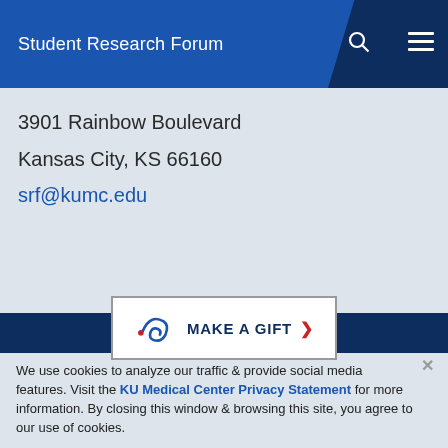Student Research Forum
3901 Rainbow Boulevard
Kansas City, KS 66160
srf@kumc.edu
[Figure (other): MAKE A GIFT button with KU swirl logo and red chevron arrow]
We use cookies to analyze our traffic & provide social media features. Visit the KU Medical Center Privacy Statement for more information. By closing this window & browsing this site, you agree to our use of cookies.